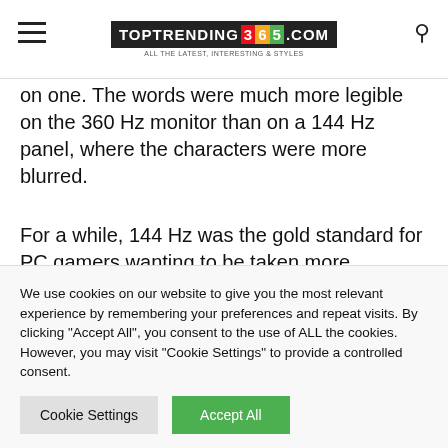TOPTRENDING 365 .COM
on one. The words were much more legible on the 360 Hz monitor than on a 144 Hz panel, where the characters were more blurred.
For a while, 144 Hz was the gold standard for PC gamers wanting to be taken more seriously. Then we started seeing 240 Hz monitors. In late 2020, monitors with 360 Hz refresh rates, like the Asus
We use cookies on our website to give you the most relevant experience by remembering your preferences and repeat visits. By clicking “Accept All”, you consent to the use of ALL the cookies. However, you may visit “Cookie Settings” to provide a controlled consent.
Cookie Settings
Accept All